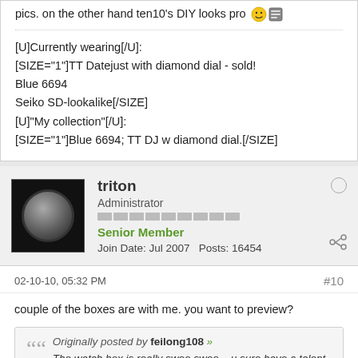pics. on the other hand ten10's DIY looks pro 😊
[U]Currently wearing[/U]:
[SIZE="1"]TT Datejust with diamond dial - sold!
Blue 6694
Seiko SD-lookalike[/SIZE]
[U]"My collection"[/U]:
[SIZE="1"]Blue 6694; TT DJ w diamond dial.[/SIZE]
triton
Administrator
Senior Member
Join Date: Jul 2007   Posts: 16454
02-10-10, 05:32 PM
#10
couple of the boxes are with me. you want to preview?
Originally posted by feilong108 »
The watch box is really swee swee....u sure have a talent